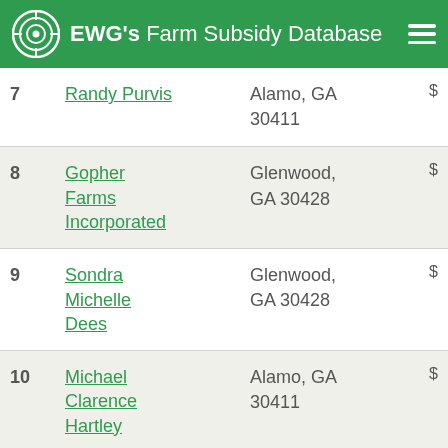EWG's Farm Subsidy Database
| Rank | Name | Location | Amount |
| --- | --- | --- | --- |
| 7 | Randy Purvis | Alamo, GA 30411 | $ |
| 8 | Gopher Farms Incorporated | Glenwood, GA 30428 | $ |
| 9 | Sondra Michelle Dees | Glenwood, GA 30428 | $ |
| 10 | Michael Clarence Hartley | Alamo, GA 30411 | $ |
| 11 | James Malcolm | Glenwood, GA 30428 | $ |